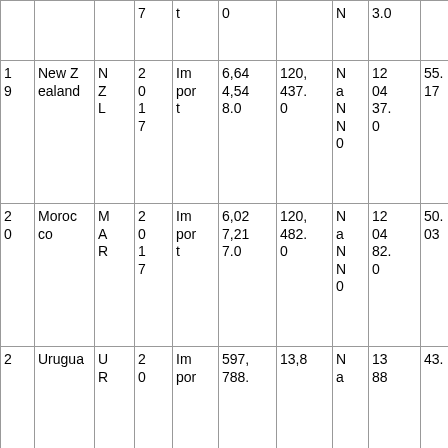|  |  |  | 7 | t | 0 |  | N | 3.0 |  |
| 1
9 | New Z
ealand | N
Z
L | 2
0
1
7 | Im
por
t | 6,64
4,54
8.0 | 120,
437.
0 | N
a
N
N
0 | 12
04
37.
0 | 55.
17 |
| 2
0 | Moroc
co | M
A
R | 2
0
1
7 | Im
por
t | 6,02
7,21
7.0 | 120,
482.
0 | N
a
N
N
0 | 12
04
82.
0 | 50.
03 |
| 2 | Urugua | U
R | 2
0 | Im
por | 597,
788. | 13,8 | N
a | 13
88 | 43. |